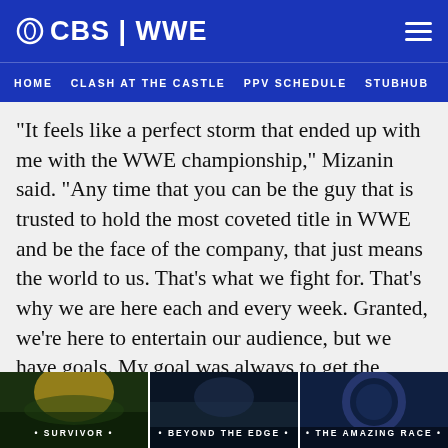CBS | WWE
HOME   CLASH AT THE CASTLE   PPV SCHEDULE   STUBHUB
"It feels like a perfect storm that ended up with me with the WWE championship," Mizanin said. "Any time that you can be the guy that is trusted to hold the most coveted title in WWE and be the face of the company, that just means the world to us. That's what we fight for. That's why we are here each and every week. Granted, we're here to entertain our audience, but we have goals. My goal was always to get the WWE championship back. I didn't want to be a one-hit wonder. I wanted the title again, and I wanted to showcase what I can do as a WWE
[Figure (screenshot): Bottom banner showing three CBS shows: Survivor, Beyond the Edge, and The Amazing Race]